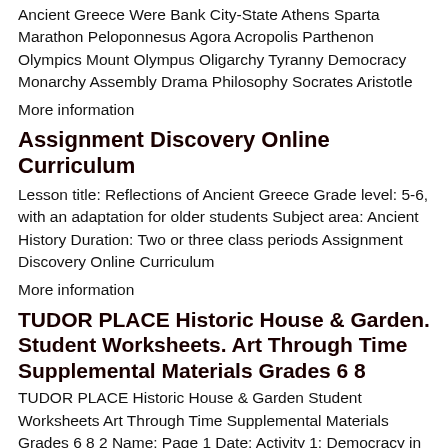Ancient Greece Were Bank City-State Athens Sparta Marathon Peloponnesus Agora Acropolis Parthenon Olympics Mount Olympus Oligarchy Tyranny Democracy Monarchy Assembly Drama Philosophy Socrates Aristotle
More information
Assignment Discovery Online Curriculum
Lesson title: Reflections of Ancient Greece Grade level: 5-6, with an adaptation for older students Subject area: Ancient History Duration: Two or three class periods Assignment Discovery Online Curriculum
More information
TUDOR PLACE Historic House & Garden. Student Worksheets. Art Through Time Supplemental Materials Grades 6 8
TUDOR PLACE Historic House & Garden Student Worksheets Art Through Time Supplemental Materials Grades 6 8 2 Name: Page 1 Date: Activity 1: Democracy in Greece, Rome and the United States Before the United